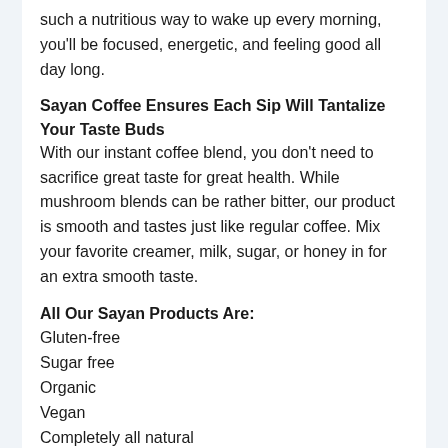such a nutritious way to wake up every morning, you'll be focused, energetic, and feeling good all day long.
Sayan Coffee Ensures Each Sip Will Tantalize Your Taste Buds
With our instant coffee blend, you don't need to sacrifice great taste for great health. While mushroom blends can be rather bitter, our product is smooth and tastes just like regular coffee. Mix your favorite creamer, milk, sugar, or honey in for an extra smooth taste.
All Our Sayan Products Are:
Gluten-free
Sugar free
Organic
Vegan
Completely all natural
S...